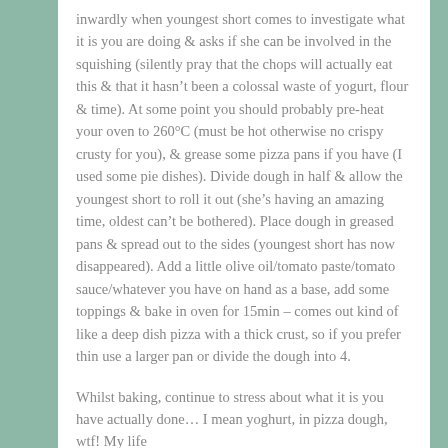inwardly when youngest short comes to investigate what it is you are doing & asks if she can be involved in the squishing (silently pray that the chops will actually eat this & that it hasn't been a colossal waste of yogurt, flour & time). At some point you should probably pre-heat your oven to 260°C (must be hot otherwise no crispy crusty for you), & grease some pizza pans if you have (I used some pie dishes). Divide dough in half & allow the youngest short to roll it out (she's having an amazing time, oldest can't be bothered). Place dough in greased pans & spread out to the sides (youngest short has now disappeared). Add a little olive oil/tomato paste/tomato sauce/whatever you have on hand as a base, add some toppings & bake in oven for 15min – comes out kind of like a deep dish pizza with a thick crust, so if you prefer thin use a larger pan or divide the dough into 4.
Whilst baking, continue to stress about what it is you have actually done… I mean yoghurt, in pizza dough, wtf! My life